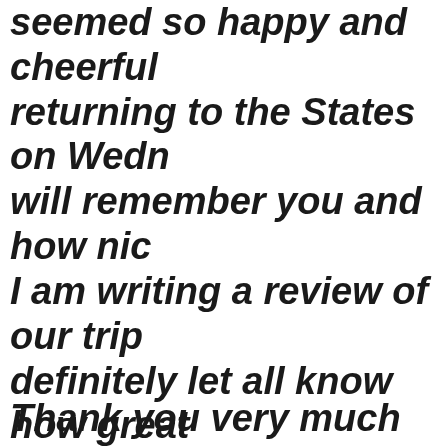seemed so happy and cheerful returning to the States on Wedn will remember you and how nic I am writing a review of our trip definitely let all know how great was and how wonderful you tre 15 November 2009        Ann and United States
Thank you very much indeed –